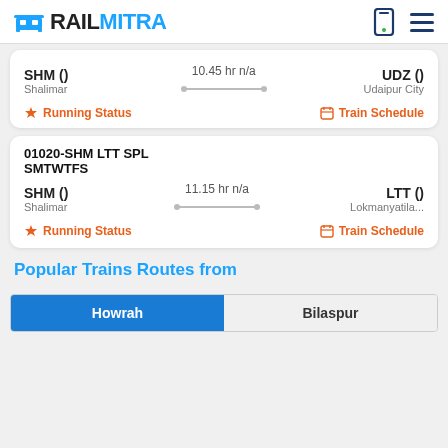RAILMITRA
SHM () 10.45 hr n/a UDZ ()
Shalimar Udaipur City
Running Status   Train Schedule
01020-SHM LTT SPL
SMTWTFS
SHM () 11.15 hr n/a LTT ()
Shalimar Lokmanyatila...
Running Status   Train Schedule
Popular Trains Routes from
Howrah   Bilaspur